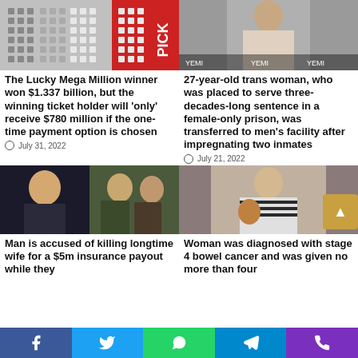[Figure (photo): Lottery ticket image with Pick numbers grid in red and grey]
The Lucky Mega Million winner won $1.337 billion, but the winning ticket holder will 'only' receive $780 million if the one-time payment option is chosen
July 31, 2022
[Figure (photo): 27-year-old trans woman upper body photo]
27-year-old trans woman, who was placed to serve three-decades-long sentence in a female-only prison, was transferred to men's facility after impregnating two inmates
July 21, 2022
[Figure (photo): Man on left in suit and couple in military/outdoor attire on right]
Man is accused of killing longtime wife for a $5m insurance payout while they
[Figure (photo): Woman holding a stuffed bear animal, wearing striped top]
Woman was diagnosed with stage 4 bowel cancer and was given no more than four